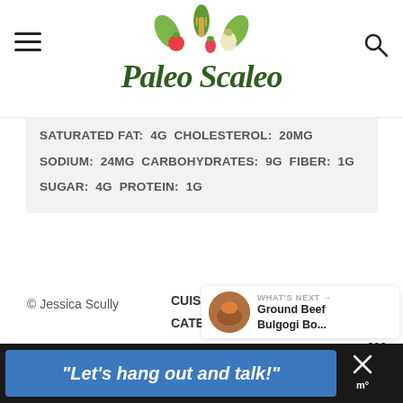[Figure (logo): Paleo Scaleo website logo with illustrated vegetables and fork, cursive script text]
SATURATED FAT: 4g CHOLESTEROL: 20mg SODIUM: 24mg CARBOHYDRATES: 9g FIBER: 1g SUGAR: 4g PROTEIN: 1g
© Jessica Scully
CUISINE: American / CATEGORY: Beverage
303
WHAT'S NEXT → Ground Beef Bulgogi Bo...
"Let's hang out and talk!"